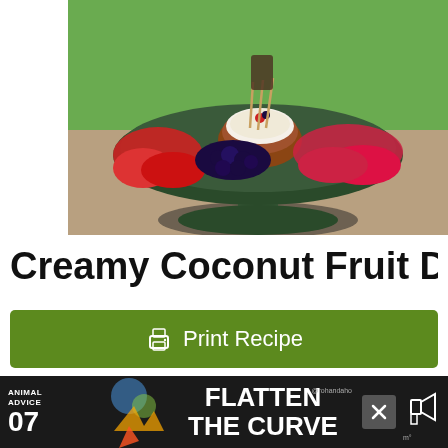[Figure (photo): A dark pedestal dish/tray with strawberries, blueberries, raspberries, and a small bowl of creamy coconut dip in the center with skewers, set on a wooden surface with green grass in background.]
Creamy Coconut Fruit Dip
Print Recipe
Pin Recipe
[Figure (infographic): Advertisement banner: Animal Advice 07 - Flatten The Curve, with @rohandaho handle, decorative colorful graphics, close button, and a megaphone icon on dark background.]